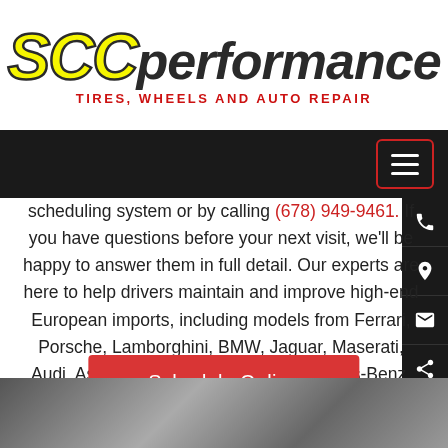[Figure (logo): SCC Performance logo with yellow italic SCC letters and dark PERFORMANCE text, with red subtitle TIRES, WHEELS AND AUTO REPAIR]
[Figure (screenshot): Dark navigation bar with hamburger menu button outlined in red on the right side]
scheduling system or by calling (678) 949-9461. If you have questions before your next visit, we'll be happy to answer them in full detail. Our experts are here to help drivers maintain and improve high-end European imports, including models from Ferrari, Porsche, Lamborghini, BMW, Jaguar, Maserati, Audi, Aston Martin, Bentley, and Mercedes-Benz. We look forward to meeting you and your vehicle!
Schedule Online
[Figure (photo): Black and white photo partially visible at the bottom of the page]